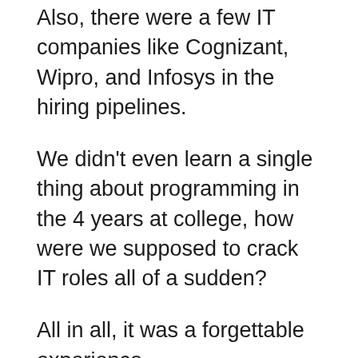Also, there were a few IT companies like Cognizant, Wipro, and Infosys in the hiring pipelines.
We didn't even learn a single thing about programming in the 4 years at college, how were we supposed to crack IT roles all of a sudden?
All in all, it was a forgettable experience.
What did you do after college?
I'd made up my mind to pursue a career in software, and so I started learning to code right after college. In the meantime, my elder brother Ashish got placed as a software